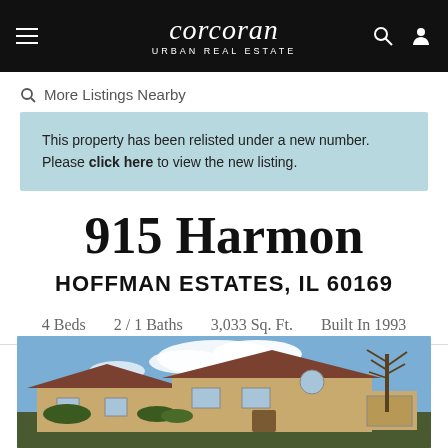corcoran URBAN REAL ESTATE
More Listings Nearby
This property has been relisted under a new number. Please click here to view the new listing.
915 Harmon
HOFFMAN ESTATES, IL 60169
4 Beds   2 / 1 Baths   3,033 Sq. Ft.   Built In 1993
[Figure (photo): Exterior photo of a two-story brick house with a reddish roof and bare tree in front, against a blue sky with clouds.]